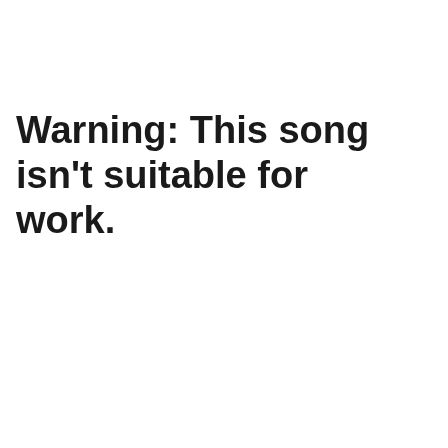Warning: This song isn't suitable for work.
[Figure (screenshot): Dark background area with cookie consent banner overlay. Banner reads: 'Privacy & Cookies: This site uses cookies. By continuing to use this website, you agree to their use. To find out more, including how to control cookies, see here: Cookie Policy'. Below is a 'Close and accept' button. An X close button is at the top right of the banner. At the bottom a partial content strip shows a thumbnail image and bold italic text 'podcast is here.']
Privacy & Cookies: This site uses cookies. By continuing to use this website, you agree to their use.
To find out more, including how to control cookies, see here: Cookie Policy
Close and accept